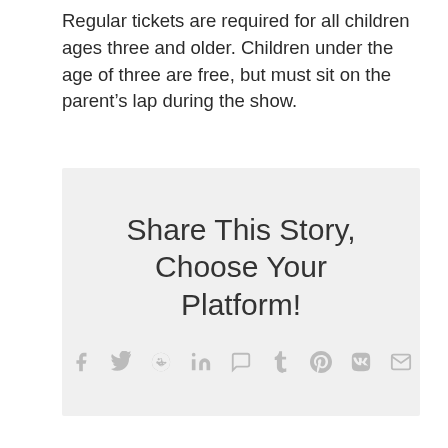Regular tickets are required for all children ages three and older. Children under the age of three are free, but must sit on the parent's lap during the show.
Share This Story, Choose Your Platform!
[Figure (infographic): Social sharing icons row: Facebook, Twitter, Reddit, LinkedIn, WhatsApp, Tumblr, Pinterest, VK, Email]